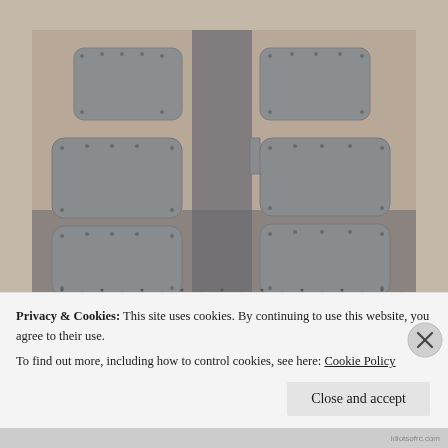[Figure (photo): A photograph of multiple grey rectangular panels with rounded corners and small holes/rivets arranged on a perforated dark surface with paper/fabric underneath. The panels appear to be metal or composite aviation/engineering parts laid out for inspection or assembly.]
Privacy & Cookies: This site uses cookies. By continuing to use this website, you agree to their use.
To find out more, including how to control cookies, see here: Cookie Policy
Close and accept